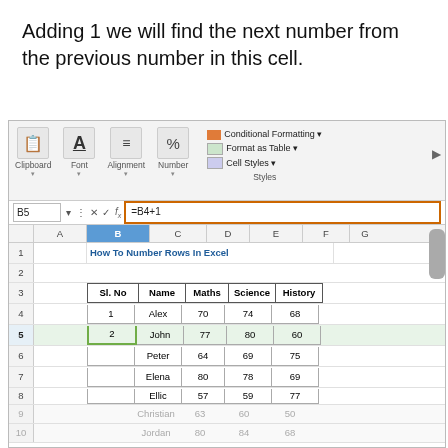Adding 1 we will find the next number from the previous number in this cell.
[Figure (screenshot): Microsoft Excel screenshot showing the ribbon with Clipboard, Font, Alignment, Number, and Styles groups, a formula bar showing cell B5 with formula =B4+1, and a spreadsheet with a data table titled 'How To Number Rows In Excel' containing columns Sl. No, Name, Maths, Science, History with student data rows.]